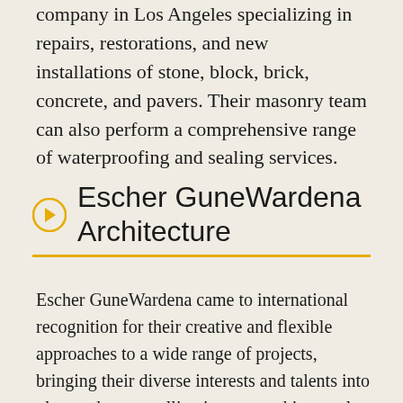company in Los Angeles specializing in repairs, restorations, and new installations of stone, block, brick, concrete, and pavers. Their masonry team can also perform a comprehensive range of waterproofing and sealing services.
Escher GuneWardena Architecture
Escher GuneWardena came to international recognition for their creative and flexible approaches to a wide range of projects, bringing their diverse interests and talents into play, and cross-pollinating one architectural or artistic discipline with another to achieve innovative solutions. Historic preservation projects include such icons as the Eames House and John